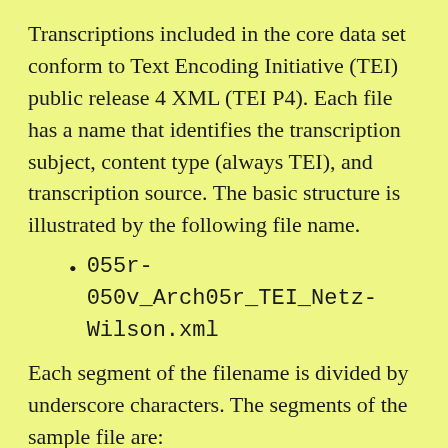Transcriptions included in the core data set conform to Text Encoding Initiative (TEI) public release 4 XML (TEI P4). Each file has a name that identifies the transcription subject, content type (always TEI), and transcription source. The basic structure is illustrated by the following file name.
055r-050v_Arch05r_TEI_Netz-Wilson.xml
Each segment of the filename is divided by underscore characters. The segments of the sample file are: